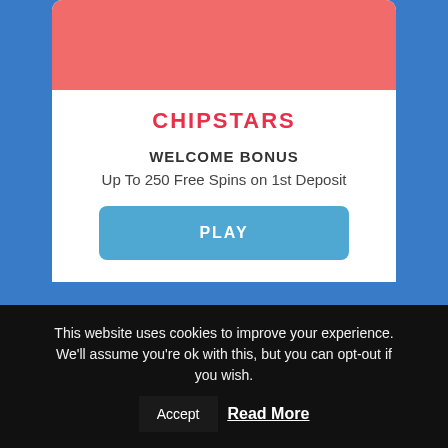[Figure (illustration): Red banner area at top of casino card]
CHIPSTARS
WELCOME BONUS
Up To 250 Free Spins on 1st Deposit
PLAY
[Figure (illustration): Purple/dark gradient casino card beginning at bottom]
This website uses cookies to improve your experience. We'll assume you're ok with this, but you can opt-out if you wish.
Accept
Read More